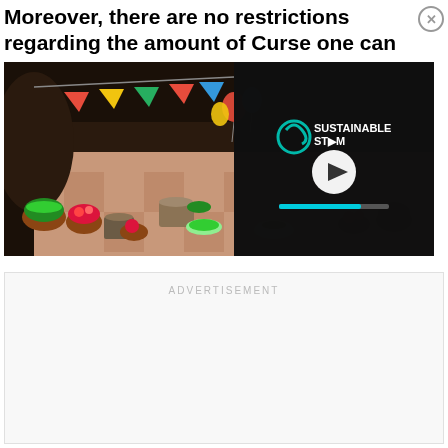Moreover, there are no restrictions regarding the amount of Curse one can achieve.
[Figure (screenshot): Screenshot of a colorful cartoon game environment showing a festive kitchen/market scene with food items, decorations, and balloons. A video player overlay is shown on the right side with a Sustainable Stream logo, play button, and loading progress bar.]
ADVERTISEMENT